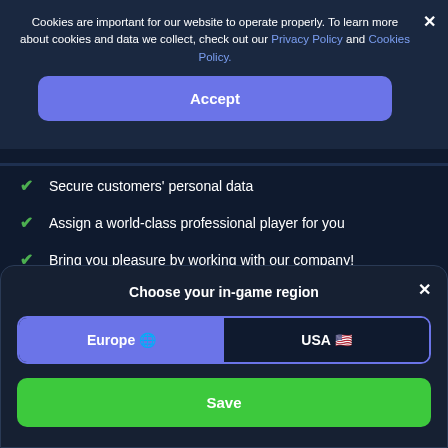Cookies are important for our website to operate properly. To learn more about cookies and data we collect, check out our Privacy Policy and Cookies Policy.
Accept
Secure customers' personal data
Assign a world-class professional player for you
Bring you pleasure by working with our company!
Choose your in-game region
Europe 🌐
USA 🇺🇸
Save